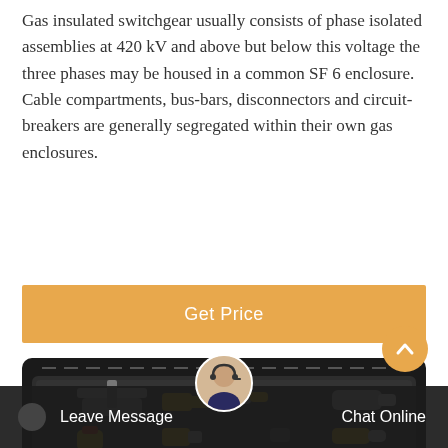Gas insulated switchgear usually consists of phase isolated assemblies at 420 kV and above but below this voltage the three phases may be housed in a common SF 6 enclosure. Cable compartments, bus-bars, disconnectors and circuit-breakers are generally segregated within their own gas enclosures.
[Figure (other): Orange 'Get Price' button banner]
[Figure (photo): A black carry case with foam interior containing various brass and silver gas fittings, connectors, adapters and valves arranged in cut-out foam slots.]
Leave Message   Chat Online